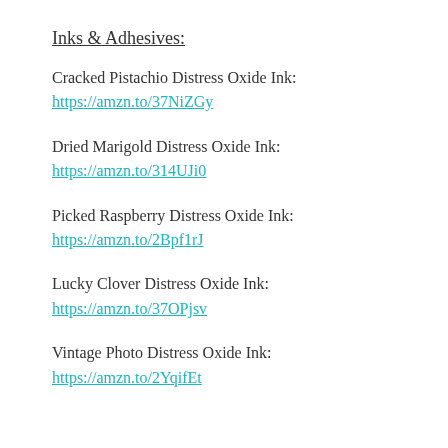Inks & Adhesives:
Cracked Pistachio Distress Oxide Ink:
https://amzn.to/37NiZGy
Dried Marigold Distress Oxide Ink:
https://amzn.to/314UJi0
Picked Raspberry Distress Oxide Ink:
https://amzn.to/2Bpf1rJ
Lucky Clover Distress Oxide Ink:
https://amzn.to/37OPjsv
Vintage Photo Distress Oxide Ink:
https://amzn.to/2YqifEt